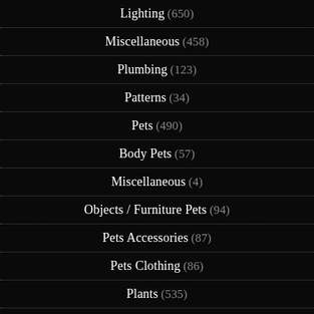Lighting (650)
Miscellaneous (458)
Plumbing (123)
Patterns (34)
Pets (490)
Body Pets (57)
Miscellaneous (4)
Objects / Furniture Pets (94)
Pets Accessories (87)
Pets Clothing (86)
Plants (535)
Poses (1,321)
Rooms (1,660)